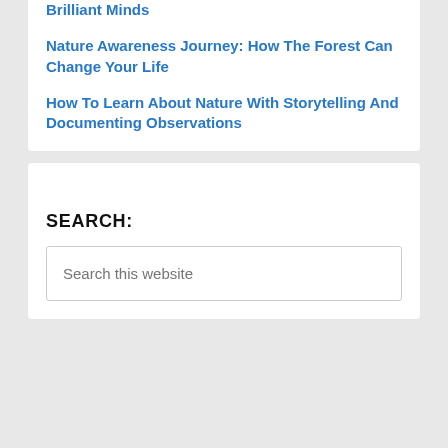Brilliant Minds
Nature Awareness Journey: How The Forest Can Change Your Life
How To Learn About Nature With Storytelling And Documenting Observations
SEARCH:
Search this website